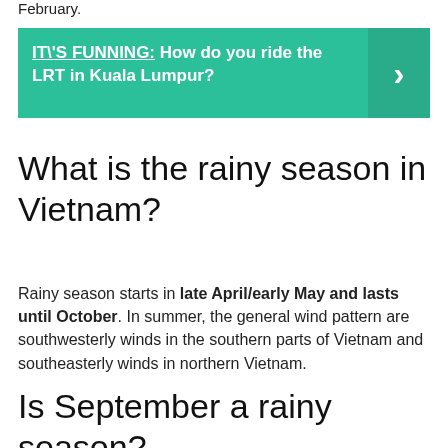February.
[Figure (infographic): Teal/green banner with bold white text: IT\'S FUNNING: How do you ride the LRT in Kuala Lumpur? with a right arrow chevron on the right side.]
What is the rainy season in Vietnam?
Rainy season starts in late April/early May and lasts until October. In summer, the general wind pattern are southwesterly winds in the southern parts of Vietnam and southeasterly winds in northern Vietnam.
Is September a rainy season?